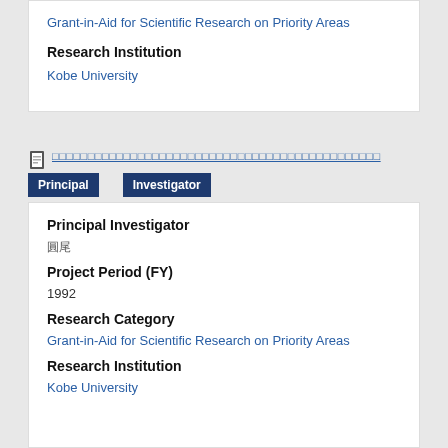Grant-in-Aid for Scientific Research on Priority Areas
Research Institution
Kobe University
[Japanese characters link] Principal Investigator
Principal Investigator
圓 尾
Project Period (FY)
1992
Research Category
Grant-in-Aid for Scientific Research on Priority Areas
Research Institution
Kobe University